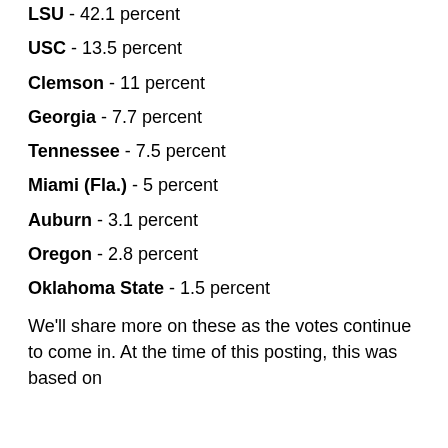LSU - 42.1 percent
USC - 13.5 percent
Clemson - 11 percent
Georgia - 7.7 percent
Tennessee - 7.5 percent
Miami (Fla.) - 5 percent
Auburn - 3.1 percent
Oregon - 2.8 percent
Oklahoma State - 1.5 percent
We'll share more on these as the votes continue to come in. At the time of this posting, this was based on